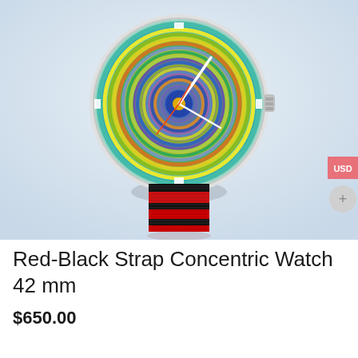[Figure (photo): A wristwatch with a colorful concentric circle dial (spiraling rings in yellow, green, blue, orange, purple, brown) and a red-black striped NATO strap, displayed against a light blue-white background. A 'USD' badge is visible on the right edge and a circular plus button below it.]
Red-Black Strap Concentric Watch 42 mm
$650.00